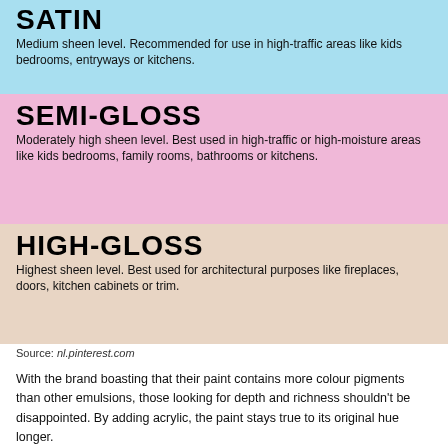[Figure (infographic): Infographic showing paint sheen levels: Satin (light blue background), Semi-Gloss (pink background), High-Gloss (tan/beige background), each with bold title and descriptive text]
Source: nl.pinterest.com
With the brand boasting that their paint contains more colour pigments than other emulsions, those looking for depth and richness shouldn't be disappointed. By adding acrylic, the paint stays true to its original hue longer.